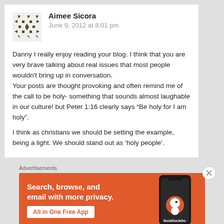[Figure (illustration): Geometric avatar icon with dark olive/brown triangles and dots on white background]
Aimee Sicora
June 9, 2012 at 8:01 pm
Danny I really enjoy reading your blog. I think that you are very brave talking about real issues that most people wouldn’t bring up in conversation.
Your posts are thought provoking and often remind me of the call to be holy- something that sounds almost laughable in our culture! but Peter 1:16 clearly says “Be holy for I am holy”.
I think as christians we should be setting the example, being a light. We should stand out as ‘holy people’.
Advertisements
[Figure (screenshot): DuckDuckGo advertisement: orange background with white text 'Search, browse, and email with more privacy. All in One Free App' and a dark smartphone showing DuckDuckGo logo]